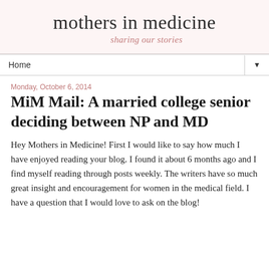mothers in medicine
sharing our stories
Home
Monday, October 6, 2014
MiM Mail: A married college senior deciding between NP and MD
Hey Mothers in Medicine! First I would like to say how much I have enjoyed reading your blog. I found it about 6 months ago and I find myself reading through posts weekly. The writers have so much great insight and encouragement for women in the medical field. I have a question that I would love to ask on the blog!